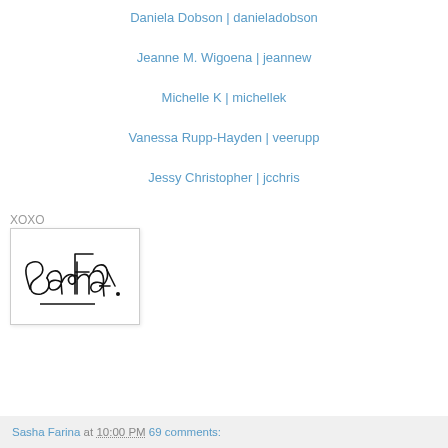Daniela Dobson | danieladobson
Jeanne M. Wigoena | jeannew
Michelle K | michellek
Vanessa Rupp-Hayden | veerupp
Jessy Christopher | jcchris
XOXO
[Figure (photo): Handwritten cursive signature reading 'Sasha Farina' in black ink on white background]
Sasha Farina at 10:00 PM   69 comments: